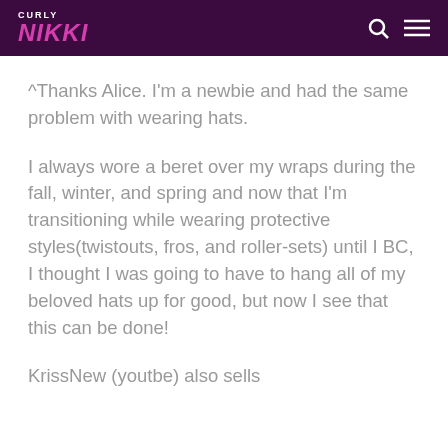CURLY NIKKI
^Thanks Alice. I'm a newbie and had the same problem with wearing hats.
I always wore a beret over my wraps during the fall, winter, and spring and now that I'm transitioning while wearing protective styles(twistouts, fros, and roller-sets) until I BC, I thought I was going to have to hang all of my beloved hats up for good, but now I see that this can be done!
KrissNew (youtbe) also sells